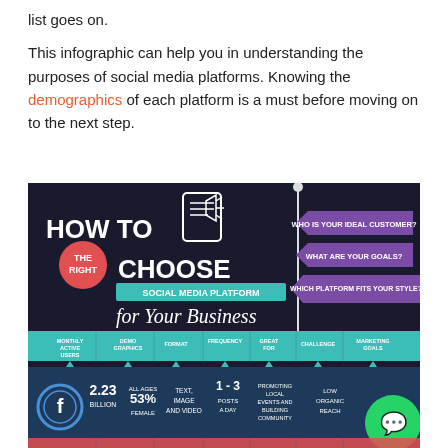list goes on.

This infographic can help you in understanding the purposes of social media platforms. Knowing the demographics of each platform is a must before moving on to the next step.
[Figure (infographic): Infographic titled 'How to Choose the Right Social Media Platform for Your Business' on a dark background. Shows three purple arrow signs asking 'Who is your ideal customer?', 'What are your goals?', 'Which platform fits your style?'. Below is a table with columns: Monthly Active Users, Demo Graphics, Format, Frequency, Great For, Challenge, Marketing Goals. Facebook row shows: 2.23 Billion, All Ages 53% Female, Text Image and Video, 1-3 Posts a Day, Promoting Local Events and Building Community, Low Organic Reach.]